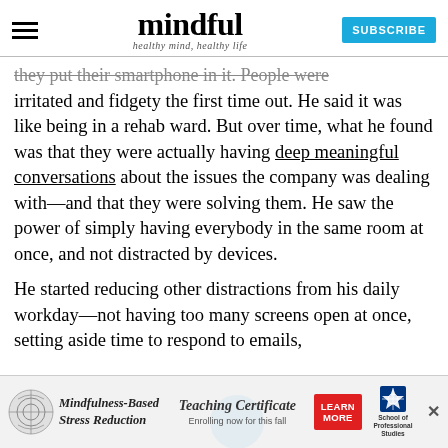mindful — healthy mind, healthy life
they put their smartphone in it. People were irritated and fidgety the first time out. He said it was like being in a rehab ward. But over time, what he found was that they were actually having deep meaningful conversations about the issues the company was dealing with—and that they were solving them. He saw the power of simply having everybody in the same room at once, and not distracted by devices.
He started reducing other distractions from his daily workday—not having too many screens open at once, setting aside time to respond to emails,
[Figure (infographic): Advertisement banner for Mindfulness-Based Stress Reduction Teaching Certificate course, with a 'Learn More' button and School of Professional Studies logo.]